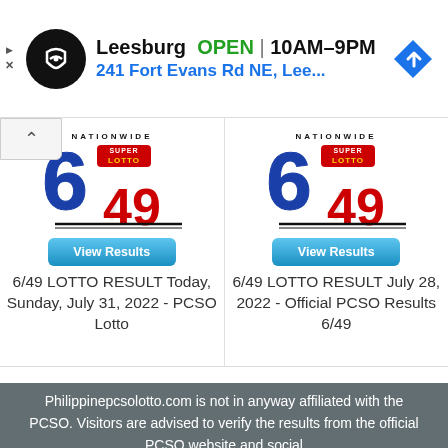[Figure (infographic): Advertisement banner: Leesburg store OPEN 10AM-9PM, 241 Fort Evans Rd NE, Lee... with map logo and direction icon]
[Figure (infographic): Left card: Nationwide Super Lotto 6/49 logo with View Results button and caption '6/49 LOTTO RESULT Today, Sunday, July 31, 2022 - PCSO Lotto']
[Figure (infographic): Right card: Nationwide Super Lotto 6/49 logo with View Results button and caption '6/49 LOTTO RESULT July 28, 2022 - Official PCSO Results 6/49']
Philippinepcsolotto.com is not in anyway affiliated with the PCSO. Visitors are advised to verify the results from the official PCSO website and social